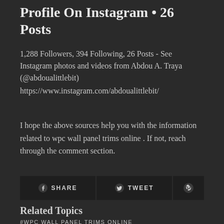Profile On Instagram • 26 Posts
1,288 Followers, 394 Following, 26 Posts - See Instagram photos and videos from Abdou A. Traya (@abdoualittlebit)
https://www.instagram.com/abdoualittlebit/
I hope the above sources help you with the information related to wpc wall panel trims online . If not, reach through the comment section.
[Figure (infographic): Social sharing buttons: SHARE (Facebook), TWEET (Twitter), Pinterest icon]
Related Topics
#WPC WALL PANEL TRIMS ONLINE